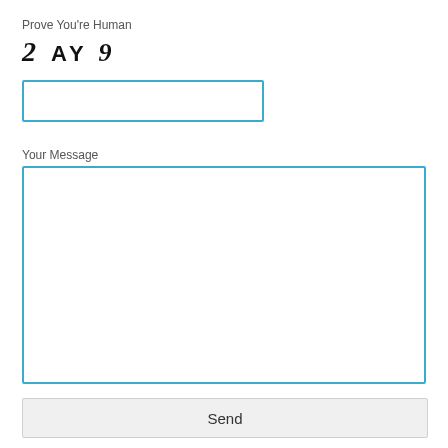Prove You're Human
[Figure (other): CAPTCHA image showing text: 2 A Y 9]
[Figure (other): Text input field for CAPTCHA entry]
Your Message
[Figure (other): Large textarea for message input]
Send